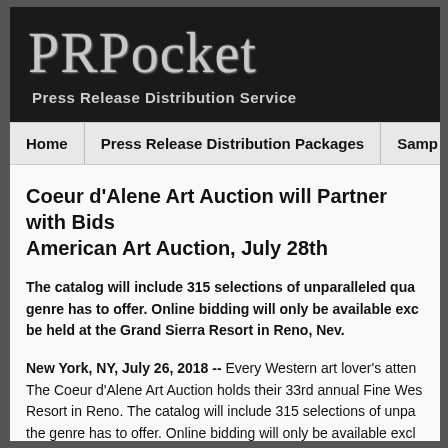PRPocket
Press Release Distribution Service
Home | Press Release Distribution Packages | Samp
Coeur d'Alene Art Auction will Partner with Bids American Art Auction, July 28th
The catalog will include 315 selections of unparalleled qual genre has to offer. Online bidding will only be available exc be held at the Grand Sierra Resort in Reno, Nev.
New York, NY, July 26, 2018 -- Every Western art lover's atten The Coeur d'Alene Art Auction holds their 33rd annual Fine Wes Resort in Reno. The catalog will include 315 selections of unpa the genre has to offer. Online bidding will only be available excl